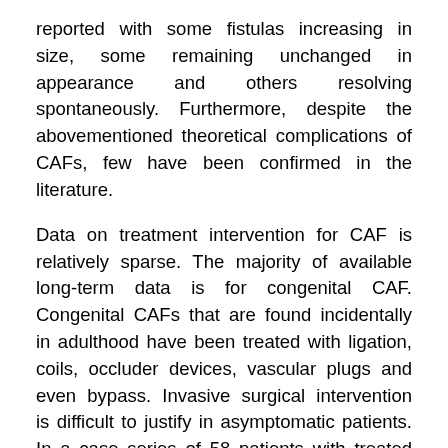reported with some fistulas increasing in size, some remaining unchanged in appearance and others resolving spontaneously. Furthermore, despite the abovementioned theoretical complications of CAFs, few have been confirmed in the literature.
Data on treatment intervention for CAF is relatively sparse. The majority of available long-term data is for congenital CAF. Congenital CAFs that are found incidentally in adulthood have been treated with ligation, coils, occluder devices, vascular plugs and even bypass. Invasive surgical intervention is difficult to justify in asymptomatic patients. In a case series of 58 patients with treated congenital CAFs, all patients' survived surgery but 8 patients had ischemia in the peri-operative period, and 1 had a significant